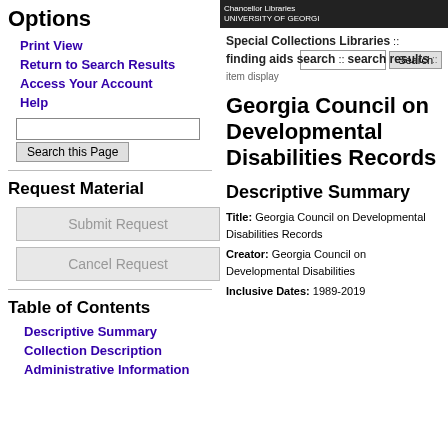Options
Print View
Return to Search Results
Access Your Account
Help
Request Material
Table of Contents
Descriptive Summary
Collection Description
Administrative Information
Special Collections Libraries :: finding aids search :: search results :: item display
Georgia Council on Developmental Disabilities Records
Descriptive Summary
Title: Georgia Council on Developmental Disabilities Records
Creator: Georgia Council on Developmental Disabilities
Inclusive Dates: 1989-2019